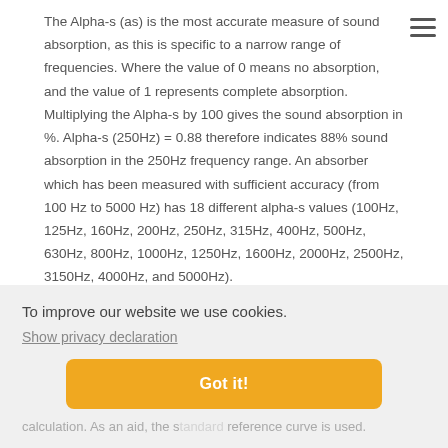The Alpha-s (as) is the most accurate measure of sound absorption, as this is specific to a narrow range of frequencies. Where the value of 0 means no absorption, and the value of 1 represents complete absorption. Multiplying the Alpha-s by 100 gives the sound absorption in %. Alpha-s (250Hz) = 0.88 therefore indicates 88% sound absorption in the 250Hz frequency range. An absorber which has been measured with sufficient accuracy (from 100 Hz to 5000 Hz) has 18 different alpha-s values (100Hz, 125Hz, 160Hz, 200Hz, 250Hz, 315Hz, 400Hz, 500Hz, 630Hz, 800Hz, 1000Hz, 1250Hz, 1600Hz, 2000Hz, 2500Hz, 3150Hz, 4000Hz, and 5000Hz).
To improve our website we use cookies.
Show privacy declaration
Got it!
calculation. As an aid, the standard reference curve is used.